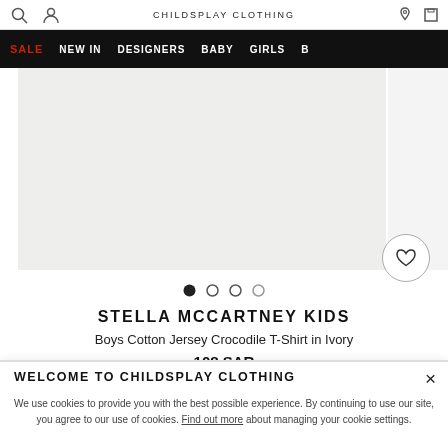CHILDSPLAY CLOTHING
[Figure (screenshot): Navigation bar with SALE, NEW IN, DESIGNERS, BABY, GIRLS, BO... menu items on black background]
[Figure (photo): Product image area showing light grey background (product not visible in this crop)]
● ○ ○ ○
STELLA MCCARTNEY KIDS
Boys Cotton Jersey Crocodile T-Shirt in Ivory
108 SAR
M95-156
★★★★★
WELCOME TO CHILDSPLAY CLOTHING
We use cookies to provide you with the best possible experience. By continuing to use our site, you agree to our use of cookies. Find out more about managing your cookie settings.